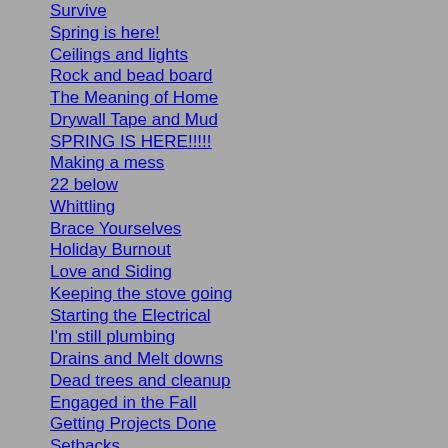Survive
Spring is here!
Ceilings and lights
Rock and bead board
The Meaning of Home
Drywall Tape and Mud
SPRING IS HERE!!!!!
Making a mess
22 below
Whittling
Brace Yourselves
Holiday Burnout
Love and Siding
Keeping the stove going
Starting the Electrical
I'm still plumbing
Drains and Melt downs
Dead trees and cleanup
Engaged in the Fall
Getting Projects Done
Setbacks
Heroes
Injured During a Renovation
The Farm Yard
The Basement Dungeon
More Coming Soon...